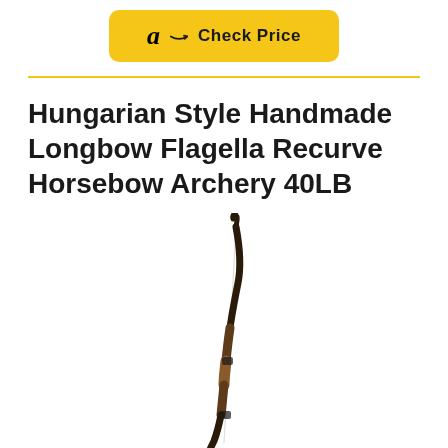[Figure (other): Amazon 'Check Price' button with yellow background, Amazon logo 'a' with arrow, and bold text 'Check Price']
Hungarian Style Handmade Longbow Flagella Recurve Horsebow Archery 40LB
[Figure (photo): A recurve horsebow / Hungarian style longbow shown vertically, with a wooden grip section, black curved limbs at top and bottom, and a white bowstring. The bow is shown against a white background.]